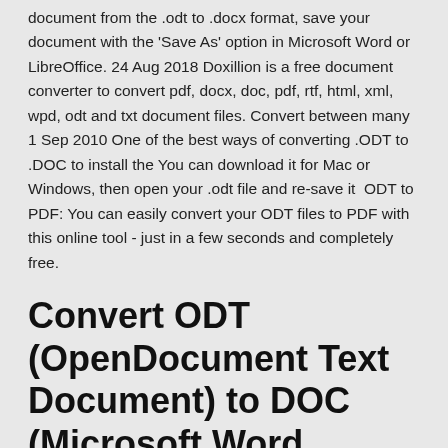document from the .odt to .docx format, save your document with the 'Save As' option in Microsoft Word or LibreOffice. 24 Aug 2018 Doxillion is a free document converter to convert pdf, docx, doc, pdf, rtf, html, xml, wpd, odt and txt document files. Convert between many  1 Sep 2010 One of the best ways of converting .ODT to .DOC to install the You can download it for Mac or Windows, then open your .odt file and re-save it  ODT to PDF: You can easily convert your ODT files to PDF with this online tool - just in a few seconds and completely free.
Convert ODT (OpenDocument Text Document) to DOC (Microsoft Word Binary It is used as an alternative to Microsoft Office due to the free